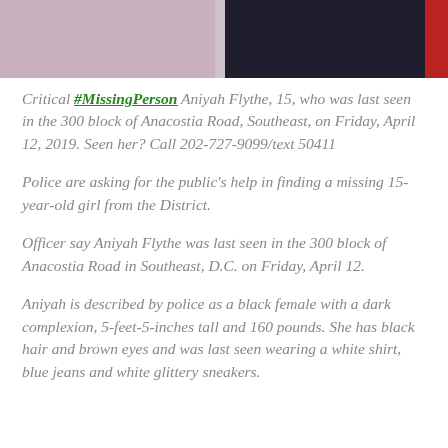[Figure (photo): Partial photo strip at top: left half shows dark-complexioned person, right half shows dark background with red accent on far right]
Critical #MissingPerson Aniyah Flythe, 15, who was last seen in the 300 block of Anacostia Road, Southeast, on Friday, April 12, 2019. Seen her? Call 202-727-9099/text 50411
Police are asking for the public's help in finding a missing 15-year-old girl from the District.
Officer say Aniyah Flythe was last seen in the 300 block of Anacostia Road in Southeast, D.C. on Friday, April 12.
Aniyah is described by police as a black female with a dark complexion, 5-feet-5-inches tall and 160 pounds. She has black hair and brown eyes and was last seen wearing a white shirt, blue jeans and white glittery sneakers.